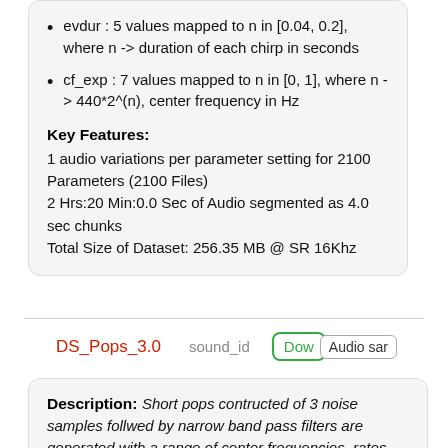evdur : 5 values mapped to n in [0.04, 0.2], where n -> duration of each chirp in seconds
cf_exp : 7 values mapped to n in [0, 1], where n -> 440*2^(n), center frequency in Hz
Key Features:
1 audio variations per parameter setting for 2100 Parameters (2100 Files)
2 Hrs:20 Min:0.0 Sec of Audio segmented as 4.0 sec chunks
Total Size of Dataset: 256.35 MB @ SR 16Khz
DS_Pops_3.0   sound_id   Dow  Audio sar
Description: Short pops contructed of 3 noise samples follwed by narrow band pass filters are generated with a range of center frequencies, rates, and regularity.

Parameters: